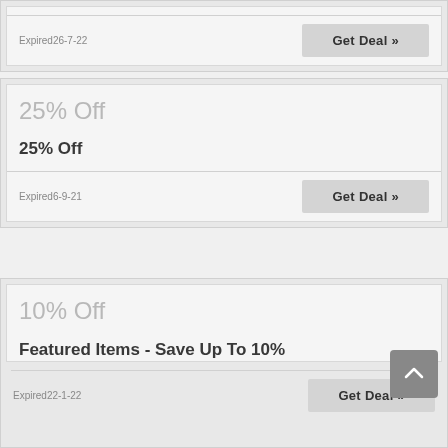Expired26-7-22
Get Deal »
25% Off
25% Off
Expired6-9-21
Get Deal »
10% Off
Featured Items - Save Up To 10%
Expired22-1-22
Get Deal »